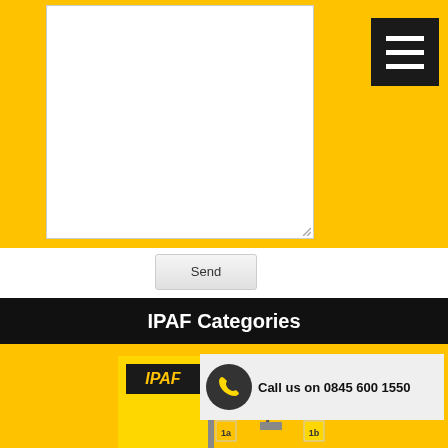[Figure (screenshot): Yellow background with white textarea input box and dark hamburger menu button in top right corner]
Send
IPAF Categories
[Figure (screenshot): IPAF branded card with yellow and grey background showing scissor lift and boom lift equipment categories 1a and 1b]
Call us on 0845 600 1550